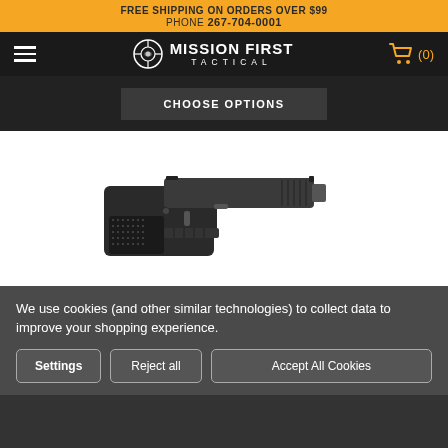FREE SHIPPING ON ORDERS OVER $99
PHONE 267-704-0001
Mission First Tactical (0)
[Figure (screenshot): CHOOSE OPTIONS button on dark product listing background]
[Figure (photo): Black pistol handgun shown from the side on white background]
We use cookies (and other similar technologies) to collect data to improve your shopping experience.
Settings | Reject all | Accept All Cookies